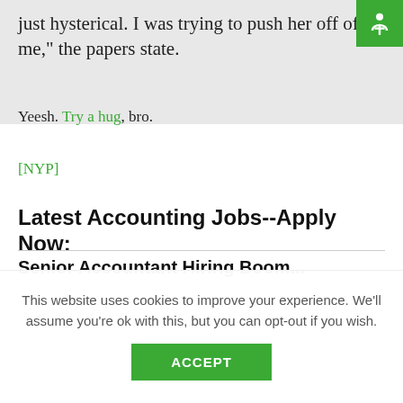anything wrongbuying Haynes was just hysterical. I was trying to push her off of me," the papers state.
Yeesh. Try a hug, bro.
[NYP]
Latest Accounting Jobs--Apply Now:
Senior Accountant Hiring Boom...
This website uses cookies to improve your experience. We'll assume you're ok with this, but you can opt-out if you wish. ACCEPT